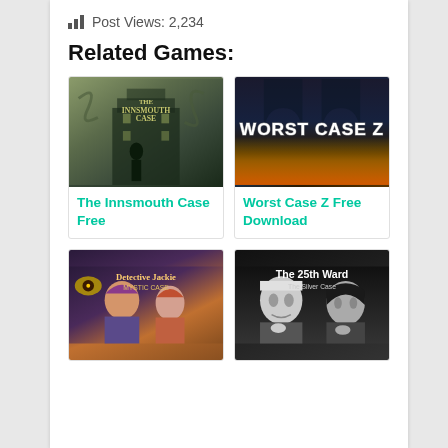Post Views: 2,234
Related Games:
[Figure (screenshot): The Innsmouth Case game cover image - dark mystery/detective themed with silhouette figure against an eerie building]
The Innsmouth Case Free
[Figure (screenshot): Worst Case Z game cover image - horror themed with fiery background and bold white text]
Worst Case Z Free Download
[Figure (screenshot): Detective Jackie Mystic Case game cover image - colorful animated detective characters]
[Figure (screenshot): The 25th Ward: The Silver Case game cover - black and white noir style with two characters]